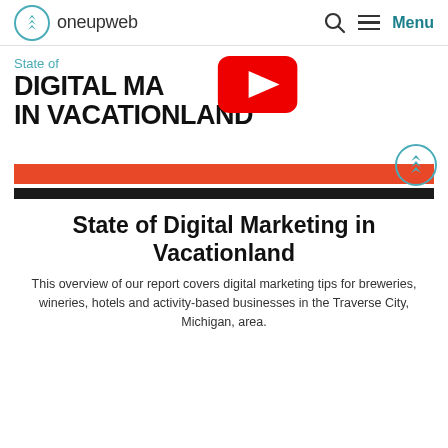oneupweb — Menu
[Figure (illustration): Hero banner showing 'State of DIGITAL MARKETING IN VACATIONLAND' title with a YouTube play button overlay and oneupweb logo circle icon, followed by a red bar and a black bar]
State of Digital Marketing in Vacationland
This overview of our report covers digital marketing tips for breweries, wineries, hotels and activity-based businesses in the Traverse City, Michigan, area.